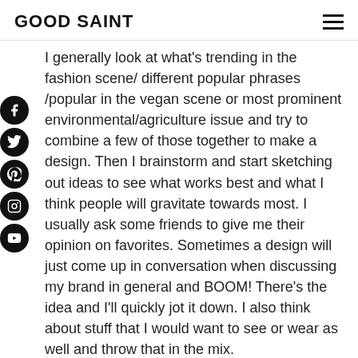GOOD SAINT
I generally look at what's trending in the fashion scene/ different popular phrases /popular in the vegan scene or most prominent environmental/agriculture issue and try to combine a few of those together to make a design. Then I brainstorm and start sketching out ideas to see what works best and what I think people will gravitate towards most. I usually ask some friends to give me their opinion on favorites. Sometimes a design will just come up in conversation when discussing my brand in general and BOOM! There's the idea and I'll quickly jot it down. I also think about stuff that I would want to see or wear as well and throw that in the mix.
We LOVE the name. How'd you come up with it?